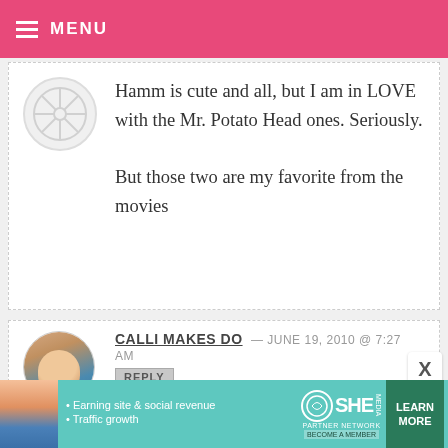MENU
Hamm is cute and all, but I am in LOVE with the Mr. Potato Head ones. Seriously.

But those two are my favorite from the movies
CALLI MAKES DO — JUNE 19, 2010 @ 7:27 AM
REPLY
I am continually awed by your talent.

Having made cake balls once, I am
• Earning site & social revenue
• Traffic growth
SHE PARTNER NETWORK
BECOME A MEMBER
LEARN MORE